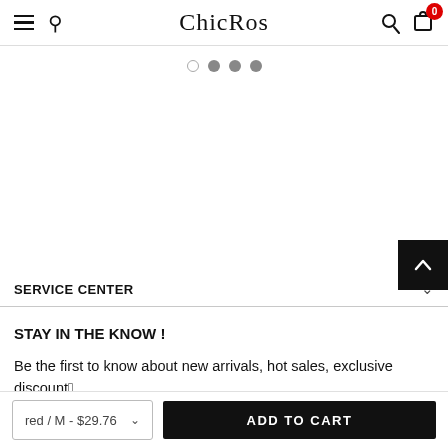ChicRos
[Figure (other): Carousel pagination dots: one empty circle and three filled gray circles]
[Figure (other): Back-to-top button: black square with white upward chevron arrow]
SERVICE CENTER
STAY IN THE KNOW !
Be the first to know about new arrivals, hot sales, exclusive discount
red / M - $29.76
ADD TO CART